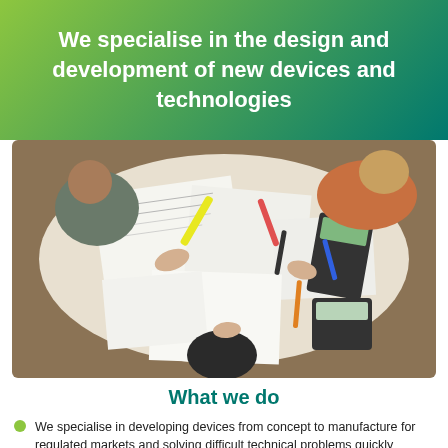We specialise in the design and development of new devices and technologies
[Figure (photo): Overhead view of three people working together at a table covered with technical drawings, papers, pens, highlighters, and calculators]
What we do
We specialise in developing devices from concept to manufacture for regulated markets and solving difficult technical problems quickly
We do not have internal projects so are as fast and cost-